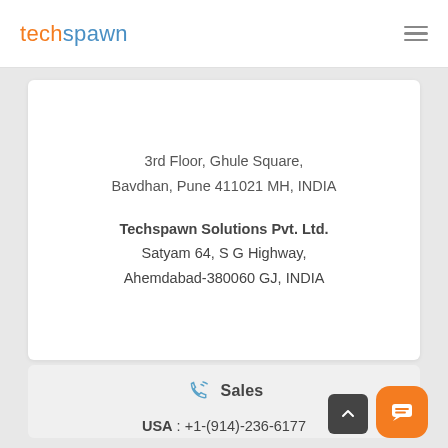techspawn
3rd Floor, Ghule Square,
Bavdhan, Pune 411021 MH, INDIA
Techspawn Solutions Pvt. Ltd.
Satyam 64, S G Highway,
Ahemdabad-380060 GJ, INDIA
Sales
USA : +1-(914)-236-6177
INDIA : +91-(771)-999-3399